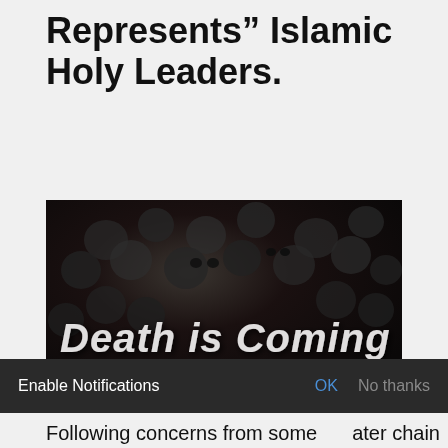Represents” Islamic Holy Leaders.
[Figure (photo): Dark image showing a wall of skulls with the text 'Death is Coming' in large stylized white letters and 'HNewsWire' watermark in the bottom right corner with a red glowing star.]
Following concerns from some members of ater chain has halted the worldwide screening of a film